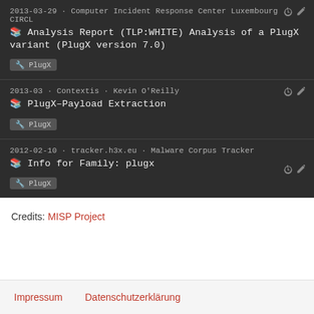2013-03-29 · Computer Incident Response Center Luxembourg · CIRCL
📖 Analysis Report (TLP:WHITE) Analysis of a PlugX variant (PlugX version 7.0)
PlugX
2013-03 · Contextis · Kevin O'Reilly
📖 PlugX–Payload Extraction
PlugX
2012-02-10 · tracker.h3x.eu · Malware Corpus Tracker
📖 Info for Family: plugx
PlugX
Credits: MISP Project
Impressum    Datenschutzerklärung